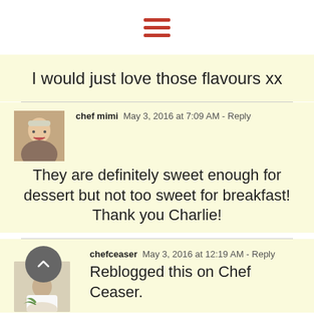[Figure (other): Hamburger menu icon with three horizontal red bars]
I would just love those flavours xx
chef mimi  May 3, 2016 at 7:09 AM - Reply
They are definitely sweet enough for dessert but not too sweet for breakfast! Thank you Charlie!
[Figure (photo): Profile photo of chef mimi, a woman with short blonde/grey hair]
chefceaser  May 3, 2016 at 12:19 AM - Reply
Reblogged this on Chef Ceaser.
[Figure (photo): Profile photo of chefceaser, a person in chef hat holding produce, with a grey circle badge showing an upward chevron]